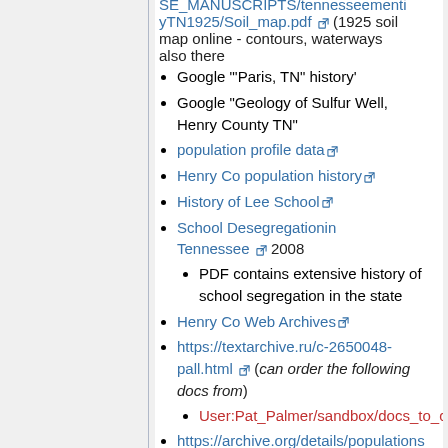SE_MANUSCRIPTS/tennesseementiyTN1925/Soil_map.pdf (1925 soil map online - contours, waterways also there
Google "'Paris, TN" history'
Google "Geology of Sulfur Well, Henry County TN"
population profile data
Henry Co population history
History of Lee School
School Desegregationin Tennessee 2008
PDF contains extensive history of school segregation in the state
Henry Co Web Archives
https://textarchive.ru/c-2650048-pall.html (can order the following docs from)
User:Pat_Palmer/sandbox/docs_to_c
https://archive.org/details/populations